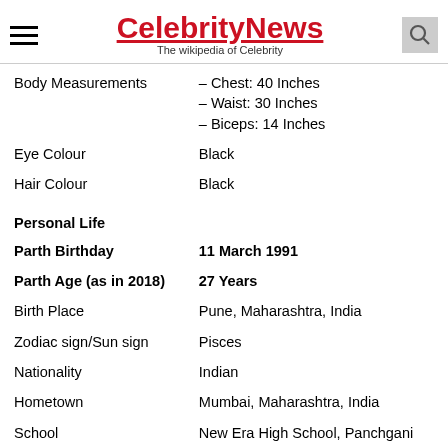CelebrityNews — The wikipedia of Celebrity
| Attribute | Value |
| --- | --- |
| Body Measurements | – Chest: 40 Inches
– Waist: 30 Inches
– Biceps: 14 Inches |
| Eye Colour | Black |
| Hair Colour | Black |
| Personal Life |  |
| Parth Birthday | 11 March 1991 |
| Parth Age (as in 2018) | 27 Years |
| Birth Place | Pune, Maharashtra, India |
| Zodiac sign/Sun sign | Pisces |
| Nationality | Indian |
| Hometown | Mumbai, Maharashtra, India |
| School | New Era High School, Panchgani |
| College | L. S. Raheja School of Architecture |
| Educational Qualifications | Degree in Architecture |